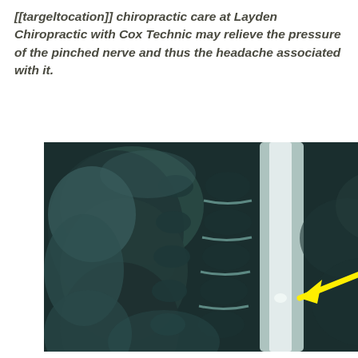[[targeltocation]] chiropractic care at Layden Chiropractic with Cox Technic may relieve the pressure of the pinched nerve and thus the headache associated with it.
[Figure (photo): Sagittal MRI scan of the cervical spine showing vertebral anatomy and spinal cord with a yellow arrow pointing to an area of nerve compression/disc pathology in the lower cervical region.]